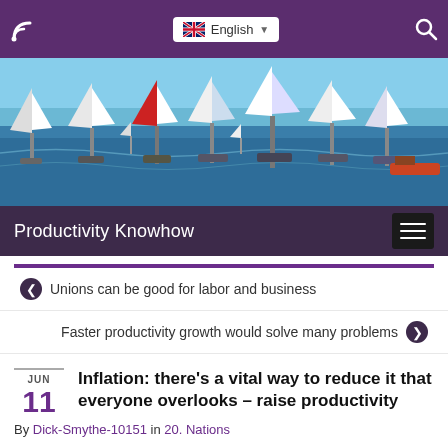Productivity Knowhow
[Figure (photo): Sailing regatta with many sailboats on blue water, spectator boats visible]
Productivity Knowhow
Unions can be good for labor and business
Faster productivity growth would solve many problems
Inflation: there's a vital way to reduce it that everyone overlooks – raise productivity
By Dick-Smythe-10151 in 20. Nations